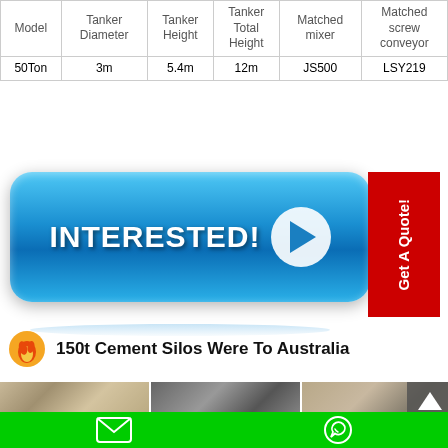| Model | Tanker Diameter | Tanker Height | Tanker Total Height | Matched mixer | Matched screw conveyor |
| --- | --- | --- | --- | --- | --- |
| 50Ton | 3m | 5.4m | 12m | JS500 | LSY219 |
[Figure (illustration): Blue 'INTERESTED!' button with play arrow icon, and red 'Get A Quote!' sidebar panel]
150t Cement Silos Were To Australia
[Figure (photo): Three photos showing cement silos being transported/installed: crane lifting silo, close-up of silo equipment, another crane shot]
Contact icons: email and WhatsApp